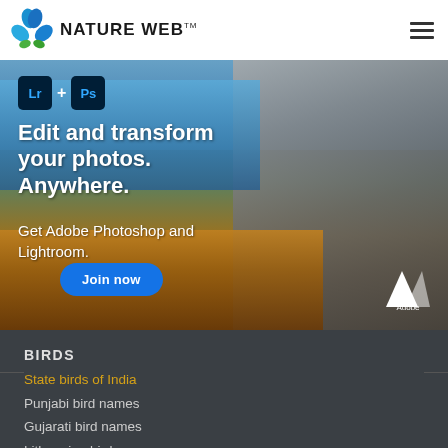NATURE WEB ™
[Figure (photo): Adobe Photoshop and Lightroom advertisement banner with photo of rocky landscape and water. Shows Lr and Ps app icons. Text: Edit and transform your photos. Anywhere. Get Adobe Photoshop and Lightroom. Join now button. Adobe logo bottom right.]
BIRDS
State birds of India
Punjabi bird names
Gujarati bird names
Lithuanian bird names
Telugu bird names